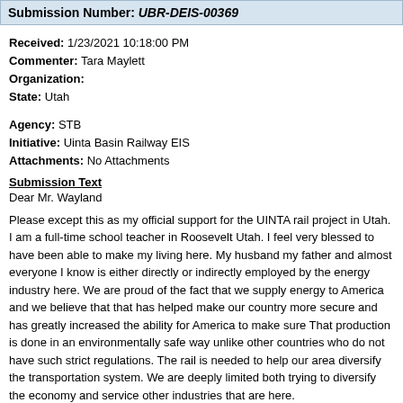Submission Number: UBR-DEIS-00369
Received: 1/23/2021 10:18:00 PM
Commenter: Tara Maylett
Organization:
State: Utah
Agency: STB
Initiative: Uinta Basin Railway EIS
Attachments: No Attachments
Submission Text
Dear Mr. Wayland
Please except this as my official support for the UINTA rail project in Utah. I am a full-time school teacher in Roosevelt Utah. I feel very blessed to have been able to make my living here. My husband my father and almost everyone I know is either directly or indirectly employed by the energy industry here. We are proud of the fact that we supply energy to America and we believe that that has helped make our country more secure and has greatly increased the ability for America to make sure That production is done in an environmentally safe way unlike other countries who do not have such strict regulations. The rail is needed to help our area diversify the transportation system. We are deeply limited both trying to diversify the economy and service other industries that are here.